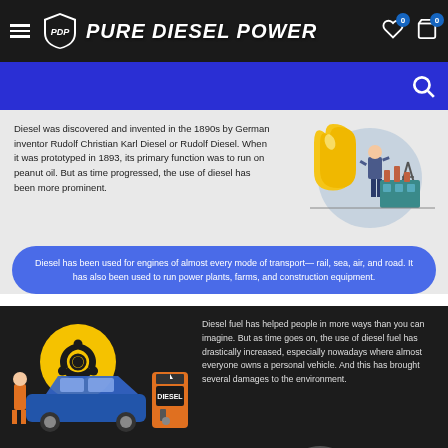PURE DIESEL POWER
[Figure (screenshot): Search bar with blue background and magnifying glass icon]
Diesel was discovered and invented in the 1890s by German inventor Rudolf Christian Karl Diesel or Rudolf Diesel. When it was prototyped in 1893, its primary function was to run on peanut oil. But as time progressed, the use of diesel has been more prominent.
[Figure (illustration): Illustration of oil drop, businessman, oil derrick and industrial facility]
Diesel has been used for engines of almost every mode of transport— rail, sea, air, and road. It has also been used to run power plants, farms, and construction equipment.
[Figure (illustration): Illustration of car, biohazard symbol, gas station pump labeled DIESEL, person in orange suit]
Diesel fuel has helped people in more ways than you can imagine. But as time goes on, the use of diesel fuel has drastically increased, especially nowadays where almost everyone owns a personal vehicle. And this has brought several damages to the environment.
It has been known that diesel fuel alone produces many harmful emissions that could cause pollution. Because of this, attempts to reduce the emission of these pollutants have
[Figure (illustration): Illustration of pollution, factory smokestacks, dead trees, dark clouds]